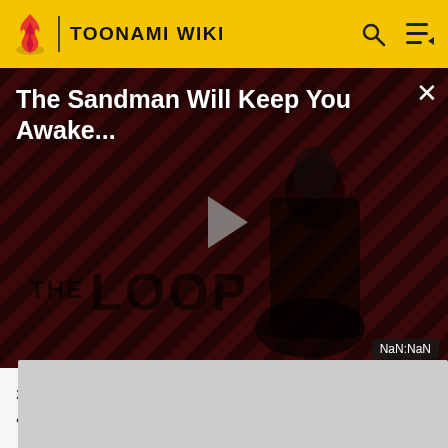TOONAMI WIKI
[Figure (screenshot): Video player showing 'The Sandman Will Keep You Awake...' with diagonal stripe background, a dark-clothed figure, THE LOOP branding, play button, and NaN:NaN timestamp]
2014; January 3, 2015[7] – January 31, 2015[8][9]
Toonami (Japan) – 2006[18]
[Figure (screenshot): Partially visible gray image area at bottom of page]